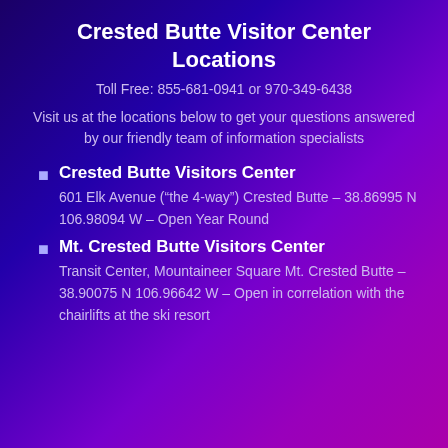Crested Butte Visitor Center Locations
Toll Free: 855-681-0941 or 970-349-6438
Visit us at the locations below to get your questions answered by our friendly team of information specialists
Crested Butte Visitors Center
601 Elk Avenue (“the 4-way”) Crested Butte – 38.86995 N 106.98094 W – Open Year Round
Mt. Crested Butte Visitors Center
Transit Center, Mountaineer Square Mt. Crested Butte – 38.90075 N 106.96642 W – Open in correlation with the chairlifts at the ski resort